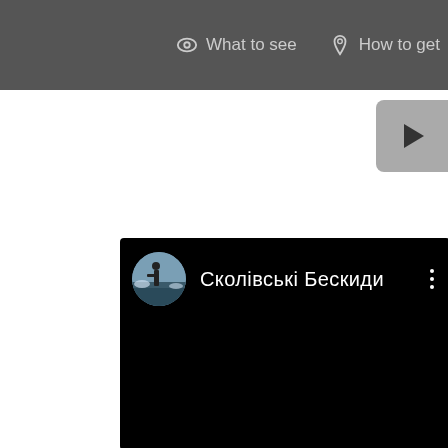What to see  How to get
[Figure (screenshot): YouTube video player screenshot showing a black video frame with a circular avatar thumbnail of a person in snow landscape, channel name 'Сколівські Бескиди' in white text on black background, and a three-dot menu icon on the right]
Сколівські Бескиди